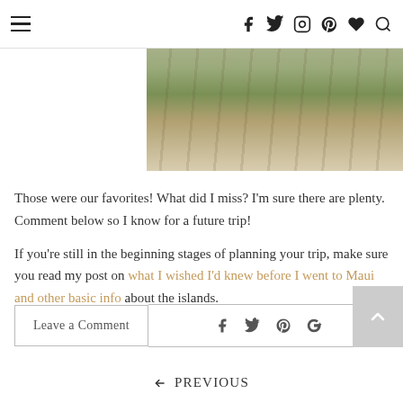≡ f 𝕏 📷 𝗣 ♥ 🔍
[Figure (photo): Partial view of a park or outdoor scene with trees and a dirt/grass pathway, faded and partially visible at the top of the page.]
Those were our favorites! What did I miss? I'm sure there are plenty. Comment below so I know for a future trip!
If you're still in the beginning stages of planning your trip, make sure you read my post on what I wished I'd knew before I went to Maui and other basic info about the islands.
Leave a Comment
← PREVIOUS